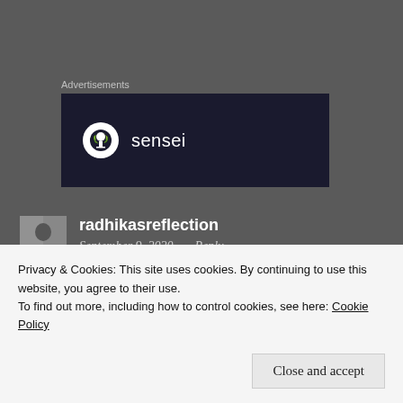Advertisements
[Figure (logo): Sensei advertisement banner with tree logo icon and the word 'sensei' in white on dark navy background]
radhikasreflection
September 9, 2020   Reply
Privacy & Cookies: This site uses cookies. By continuing to use this website, you agree to their use.
To find out more, including how to control cookies, see here: Cookie Policy
Close and accept